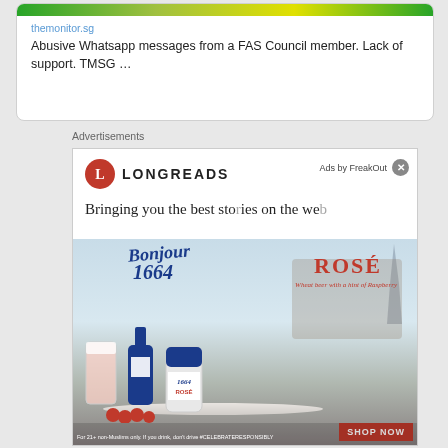[Figure (screenshot): Partial tweet card showing a link to themonitor.sg with headline 'Abusive Whatsapp messages from a FAS Council member. Lack of support. TMSG ...']
Advertisements
[Figure (screenshot): Longreads advertisement showing logo and text 'Bringing you the best stories on the web', overlaid with a 1664 Rosé beer advertisement featuring beer glass, bottle, can and people at a rooftop with Eiffel Tower. Tagline: 'Bonjour Rosé - Wheat beer with a hint of Raspberry'. Button: SHOP NOW. Footer: 'For 21+ non-Muslims only. If you drink, don't drive #CELEBRATERESPONSIBLY']